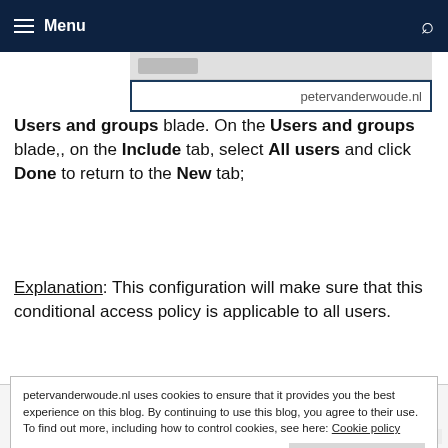Menu
[Figure (screenshot): Screenshot strip showing petervanderwoude.nl URL bar]
Users and groups blade. On the Users and groups blade,, on the Include tab, select All users and click Done to return to the New tab;
Explanation: This configuration will make sure that this conditional access policy is applicable to all users.
petervanderwoude.nl uses cookies to ensure that it provides you the best experience on this blog. By continuing to use this blog, you agree to their use. To find out more, including how to control cookies, see here: Cookie policy
Close and accept
Cloud apps  All cloud apps  Select apps